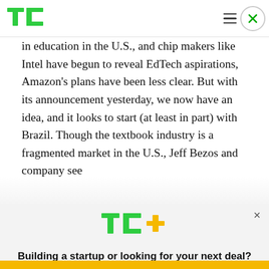TechCrunch logo, hamburger menu, close button
in education in the U.S., and chip makers like Intel have begun to reveal EdTech aspirations, Amazon's plans have been less clear. But with its announcement yesterday, we now have an idea, and it looks to start (at least in part) with Brazil. Though the textbook industry is a fragmented market in the U.S., Jeff Bezos and company see
[Figure (logo): TC+ logo with green TC letters and gold plus sign]
Building a startup or looking for your next deal? We have you covered.
EXPLORE NOW